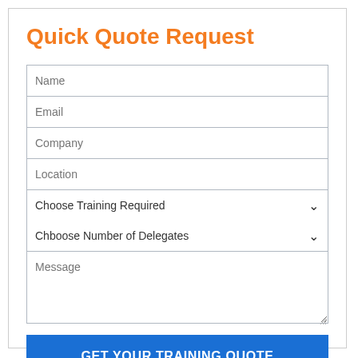Quick Quote Request
Name
Email
Company
Location
Choose Training Required
Chboose Number of Delegates
Message
GET YOUR TRAINING QUOTE